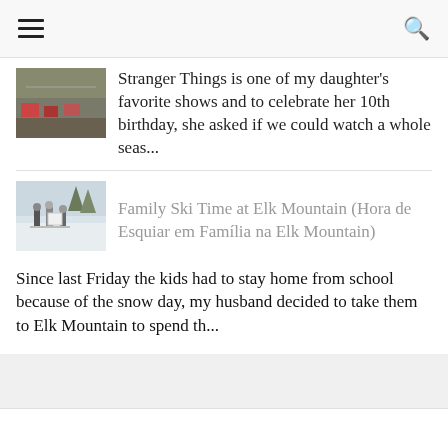[Figure (photo): Partial thumbnail image of a crowd or cars scene, top portion cut off]
Stranger Things is one of my daughter's favorite shows and to celebrate her 10th birthday, she asked if we could watch a whole seas...
[Figure (photo): Thumbnail photo of a family skiing at Elk Mountain, three figures in winter clothing with ski equipment on a snowy slope]
Family Ski Time at Elk Mountain (Hora de Esquiar em Família na Elk Mountain)
Since last Friday the kids had to stay home from school because of the snow day, my husband decided to take them to Elk Mountain to spend th...